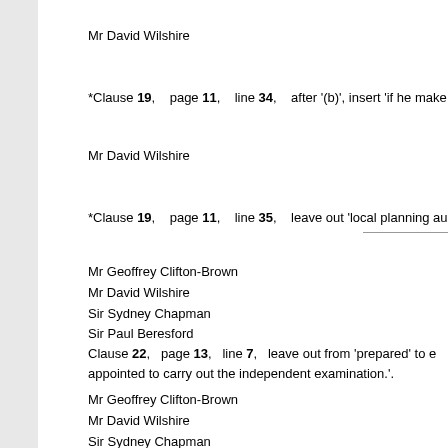Mr David Wilshire
*Clause 19, page 11, line 34, after '(b)', insert 'if he make
Mr David Wilshire
*Clause 19, page 11, line 35, leave out 'local planning au
Mr Geoffrey Clifton-Brown
Mr David Wilshire
Sir Sydney Chapman
Sir Paul Beresford
Clause 22, page 13, line 7, leave out from 'prepared' to e appointed to carry out the independent examination.'.
Mr Geoffrey Clifton-Brown
Mr David Wilshire
Sir Sydney Chapman
Sir Paul Beresford